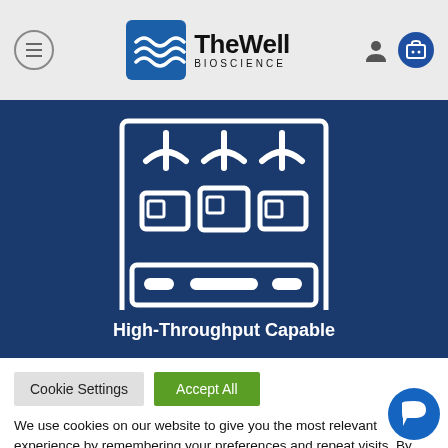[Figure (logo): The Well Bioscience logo with wave icon and hamburger menu, person icon, and cart icon in header]
[Figure (illustration): White icon of high-throughput equipment (multiple robotic arms with well plates) on dark blue background]
High-Throughput Capable
Cookie Settings | Accept All
We use cookies on our website to give you the most relevant experience by remembering your preferences and repeat visits. By clicking "Accept All", you consent to the use of ALL the cookies. However, you may visit "Cookie Settings" to provide a controlled consent.